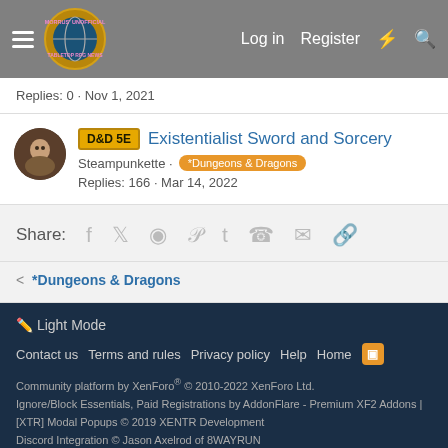Morrus' Unofficial Tabletop RPG News — Log in  Register
Replies: 0 · Nov 1, 2021
D&D 5E  Existentialist Sword and Sorcery
Steampunkette · *Dungeons & Dragons
Replies: 166 · Mar 14, 2022
Share:
< *Dungeons & Dragons
🔗 Light Mode
Contact us  Terms and rules  Privacy policy  Help  Home
Community platform by XenForo® © 2010-2022 XenForo Ltd.
Ignore/Block Essentials, Paid Registrations by AddonFlare - Premium XF2 Addons | [XTR] Modal Popups © 2019 XENTR Development
Discord Integration © Jason Axelrod of 8WAYRUN
XenCarta 2 PRO © Jason Axelrod of 8WAYRUN